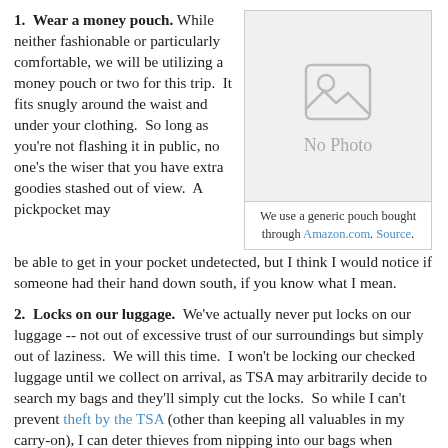1.  Wear a money pouch.  While neither fashionable or particularly comfortable, we will be utilizing a money pouch or two for this trip.  It fits snugly around the waist and under your clothing.  So long as you're not flashing it in public, no one's the wiser that you have extra goodies stashed out of view.  A pickpocket may be able to get in your pocket undetected, but I think I would notice if someone had their hand down south, if you know what I mean.
[Figure (photo): No Photo placeholder image with generic image icon]
We use a generic pouch bought through Amazon.com. Source.
2.  Locks on our luggage.  We've actually never put locks on our luggage -- not out of excessive trust of our surroundings but simply out of laziness.  We will this time.  I won't be locking our checked luggage until we collect on arrival, as TSA may arbitrarily decide to search my bags and they'll simply cut the locks.  So while I can't prevent theft by the TSA (other than keeping all valuables in my carry-on), I can deter thieves from nipping into our bags when